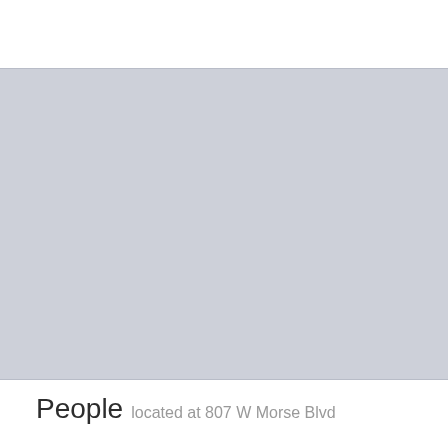[Figure (photo): A solid light gray/blue-gray rectangular placeholder image area]
People located at 807 W Morse Blvd